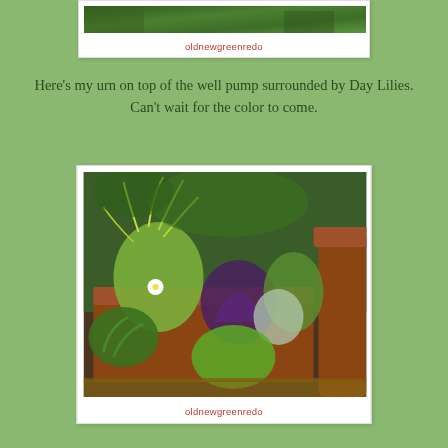[Figure (photo): Photo of garden plants partially visible at top, with watermark label 'oldnewgreenredo' in red text below]
oldnewgreenredo
Here's my urn on top of the well pump surrounded by Day Lilies. Can't wait for the color to come.
[Figure (photo): Photo of a terracotta rectangular planter container filled with various green plants including a spiky grass-like plant, purple-leafed plant, white flower, and mixed foliage, set in a garden setting with a terracotta pot visible in the background]
oldnewgreenredo